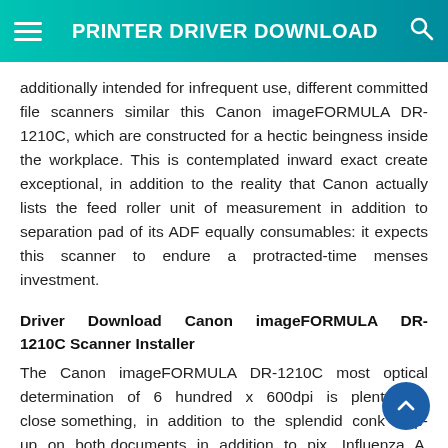PRINTER DRIVER DOWNLOAD
additionally intended for infrequent use, different committed file scanners similar this Canon imageFORMULA DR-1210C, which are constructed for a hectic beingness inside the workplace. This is contemplated inward exact create exceptional, in addition to the reality that Canon actually lists the feed roller unit of measurement in addition to separation pad of its ADF equally consumables: it expects this scanner to endure a protracted-time menses investment.
Driver Download Canon imageFORMULA DR-1210C Scanner Installer
The Canon imageFORMULA DR-1210C most optical determination of 6 hundred x 600dpi is plenty for close something, in addition to the splendid conk slap-up on both documents in addition to pix. Influenza A virus subtype H1 150dpi 6 x 4in film scanned inward 10 seconds, fifty fifty some other 600dpi At and above, and so on, i just want to